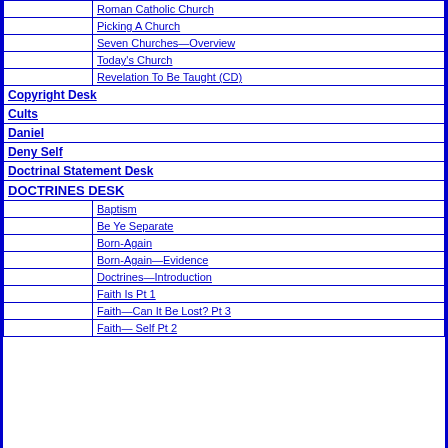|  | Roman Catholic Church |
|  | Picking A Church |
|  | Seven Churches—Overview |
|  | Today's Church |
|  | Revelation To Be Taught (CD) |
| Copyright Desk |  |
| Cults |  |
| Daniel |  |
| Deny Self |  |
| Doctrinal Statement Desk |  |
| DOCTRINES DESK |  |
|  | Baptism |
|  | Be Ye Separate |
|  | Born-Again |
|  | Born-Again—Evidence |
|  | Doctrines—Introduction |
|  | Faith Is Pt 1 |
|  | Faith—Can It Be Lost? Pt 3 |
|  | Faith— Self Pt 2 |